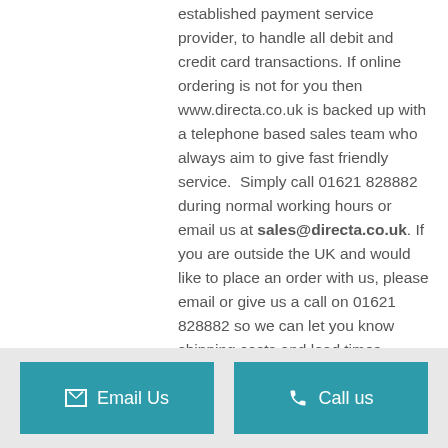established payment service provider, to handle all debit and credit card transactions. If online ordering is not for you then www.directa.co.uk is backed up with a telephone based sales team who always aim to give fast friendly service.  Simply call 01621 828882 during normal working hours or email us at sales@directa.co.uk. If you are outside the UK and would like to place an order with us, please email or give us a call on 01621 828882 so we can let you know shipping costs and lead times.
Email Us
Call us